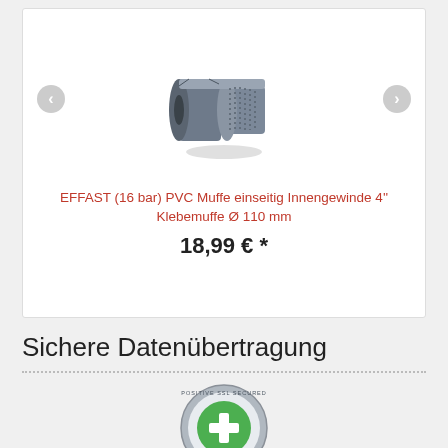[Figure (photo): Gray PVC coupling fitting with internal thread, viewed from a slight angle showing hexagonal and cylindrical profile]
EFFAST (16 bar) PVC Muffe einseitig Innengewinde 4'' Klebemuffe Ø 110 mm
18,99 € *
Sichere Datenübertragung
[Figure (logo): POSITIVE SSL SECURED WEBSITE badge/seal, circular green and silver design]